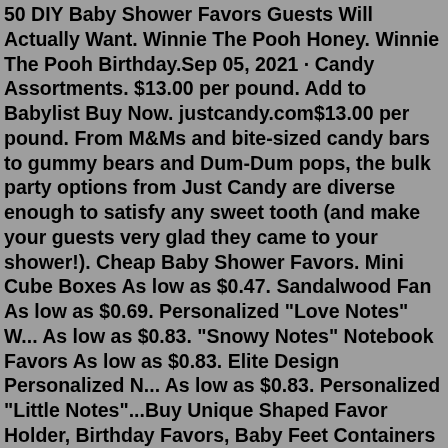50 DIY Baby Shower Favors Guests Will Actually Want. Winnie The Pooh Honey. Winnie The Pooh Birthday.Sep 05, 2021 · Candy Assortments. $13.00 per pound. Add to Babylist Buy Now. justcandy.com$13.00 per pound. From M&Ms and bite-sized candy bars to gummy bears and Dum-Dum pops, the bulk party options from Just Candy are diverse enough to satisfy any sweet tooth (and make your guests very glad they came to your shower!). Cheap Baby Shower Favors. Mini Cube Boxes As low as $0.47. Sandalwood Fan As low as $0.69. Personalized "Love Notes" W... As low as $0.83. "Snowy Notes" Notebook Favors As low as $0.83. Elite Design Personalized N... As low as $0.83. Personalized "Little Notes"...Buy Unique Shaped Favor Holder, Birthday Favors, Baby Feet Containers Shower Favor Holders, Baby Shower Favors and more! Don't Miss 10% Off All Party Balloons, Supplies, LEDs & Marquee Letters!-Code: BALLOON10. Shop Our Brand > Shipping Returns Order Status. Shop By Occasion On Sale Account